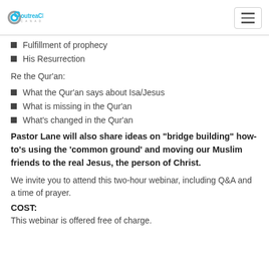Outreach Canada
Fulfillment of prophecy
His Resurrection
Re the Qur'an:
What the Qur'an says about Isa/Jesus
What is missing in the Qur'an
What's changed in the Qur'an
Pastor Lane will also share ideas on "bridge building" how-to's using the 'common ground' and moving our Muslim friends to the real Jesus, the person of Christ.
We invite you to attend this two-hour webinar, including Q&A and a time of prayer.
COST:
This webinar is offered free of charge.